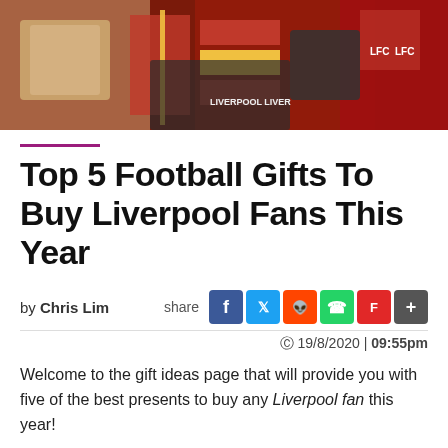[Figure (photo): Photo of Liverpool FC merchandise including scarves, boxes and LFC branded items in red and yellow]
Top 5 Football Gifts To Buy Liverpool Fans This Year
by Chris Lim   share   19/8/2020 | 09:55pm
Welcome to the gift ideas page that will provide you with five of the best presents to buy any Liverpool fan this year!
If you are trying to find the perfect gift for your friend, family member or colleague, you can gain lots of